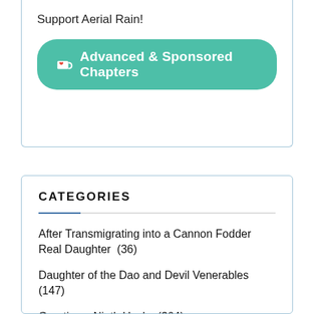Support Aerial Rain!
[Figure (other): Green rounded button with Ko-fi cup icon and text 'Advanced & Sponsored Chapters']
CATEGORIES
After Transmigrating into a Cannon Fodder Real Daughter  (36)
Daughter of the Dao and Devil Venerables  (147)
Greetings, Ninth Uncle  (364)
My Son is a Reborn Villain  (160)
My Whole Family are Villains  (220)